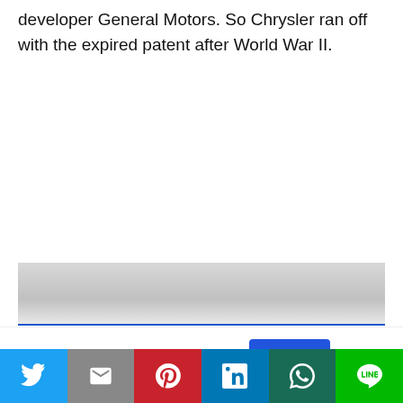developer General Motors. So Chrysler ran off with the expired patent after World War II.
[Figure (other): Advertisement banner with gray gradient background and blue bottom border]
This website uses cookies.
[Figure (infographic): Social share bar with Twitter, Email, Pinterest, LinkedIn, WhatsApp, and LINE buttons]